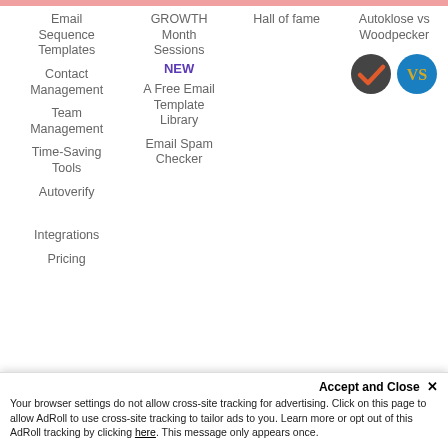Email Sequence Templates
GROWTH Month Sessions NEW
Hall of fame
Autoklose vs Woodpecker
Contact Management
A Free Email Template Library
Team Management
Email Spam Checker
Time-Saving Tools
Autoverify
Integrations
Pricing
[Figure (logo): Two circular logos side by side: a dark grey circle with orange/red checkmark (Autoklose) and a blue circle with VS letters in gold]
Accept and Close ✕
Your browser settings do not allow cross-site tracking for advertising. Click on this page to allow AdRoll to use cross-site tracking to tailor ads to you. Learn more or opt out of this AdRoll tracking by clicking here. This message only appears once.